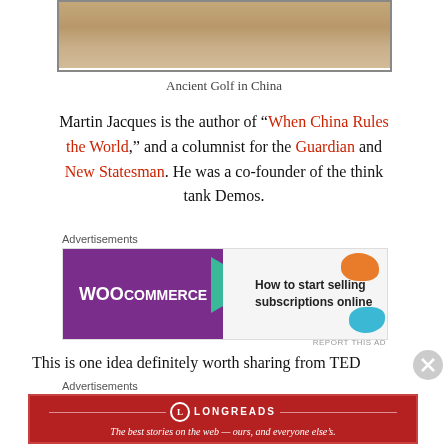[Figure (photo): Partial view of an ancient painting or image related to golf in China, showing a sandy/earthy landscape with dark marks.]
Ancient Golf in China
Martin Jacques is the author of “When China Rules the World,” and a columnist for the Guardian and New Statesman. He was a co-founder of the think tank Demos.
Advertisements
[Figure (other): WooCommerce advertisement banner: 'How to start selling subscriptions online']
This is one idea definitely worth sharing from TED
Advertisements
[Figure (other): Longreads advertisement: 'The best stories on the web — ours, and everyone else’s.']